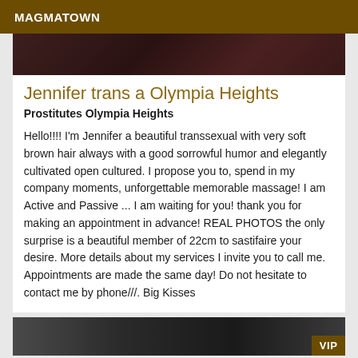MAGMATOWN
[Figure (photo): Dark reddish-brown textured background image strip at the top of the listing card]
Jennifer trans a Olympia Heights
Prostitutes Olympia Heights
Hello!!!! I'm Jennifer a beautiful transsexual with very soft brown hair always with a good sorrowful humor and elegantly cultivated open cultured. I propose you to, spend in my company moments, unforgettable memorable massage! I am Active and Passive ... I am waiting for you! thank you for making an appointment in advance! REAL PHOTOS the only surprise is a beautiful member of 22cm to sastifaire your desire. More details about my services I invite you to call me. Appointments are made the same day! Do not hesitate to contact me by phone///. Big Kisses
[Figure (photo): Black and white photo strip at the bottom with a VIP badge in the lower right corner]